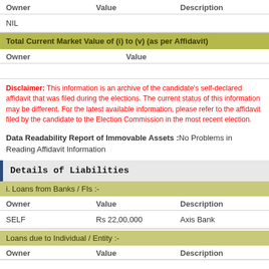| Owner | Value | Description |
| --- | --- | --- |
| NIL |  |  |
Total Current Market Value of (i) to (v) (as per Affidavit)
| Owner | Value |
| --- | --- |
Disclaimer: This information is an archive of the candidate's self-declared affidavit that was filed during the elections. The current status of this information may be different. For the latest available information, please refer to the affidavit filed by the candidate to the Election Commission in the most recent election.
Data Readability Report of Immovable Assets :No Problems in Reading Affidavit Information
Details of Liabilities
i. Loans from Banks / FIs :-
| Owner | Value | Description |
| --- | --- | --- |
| SELF | Rs 22,00,000 | Axis Bank |
Loans due to Individual / Entity :-
| Owner | Value | Description |
| --- | --- | --- |